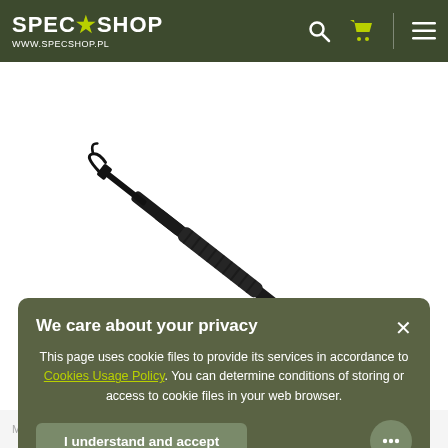[Figure (logo): SPECSHOP logo with star in olive/dark green header bar, white text, www.specshop.pl URL below]
[Figure (photo): Black tactical tool/pointer (appears to be a cleaning rod or stylus) on white background, diagonal orientation from lower-left to upper-right]
We care about your privacy
This page uses cookie files to provide its services in accordance to Cookies Usage Policy. You can determine conditions of storing or access to cookie files in your web browser.
I understand and accept
Manufacturer: ASG Inc